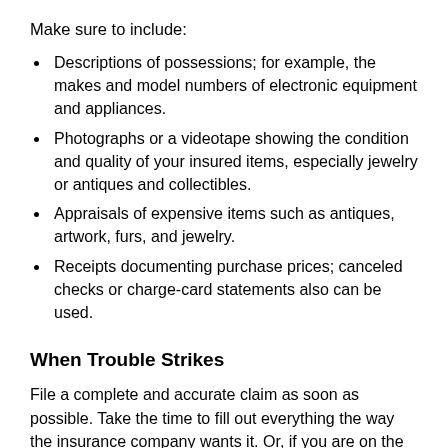Make sure to include:
Descriptions of possessions; for example, the makes and model numbers of electronic equipment and appliances.
Photographs or a videotape showing the condition and quality of your insured items, especially jewelry or antiques and collectibles.
Appraisals of expensive items such as antiques, artwork, furs, and jewelry.
Receipts documenting purchase prices; canceled checks or charge-card statements also can be used.
When Trouble Strikes
File a complete and accurate claim as soon as possible. Take the time to fill out everything the way the insurance company wants it. Or, if you are on the phone with a claims agent, be extremely detailed in your descriptions and be certain that all your information is correct.